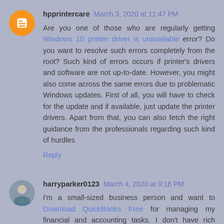hpprintercare March 3, 2020 at 11:47 PM
Are you one of those who are regularly getting Windows 10 printer driver is unavailable error? Do you want to resolve such errors completely from the root? Such kind of errors occurs if printer's drivers and software are not up-to-date. However, you might also come across the same errors due to problematic Windows updates. First of all, you will have to check for the update and if available, just update the printer drivers. Apart from that, you can also fetch the right guidance from the professionals regarding such kind of hurdles
Reply
harryparker0123 March 4, 2020 at 9:16 PM
I'm a small-sized business person and want to Download QuickBooks Free for managing my financial and accounting tasks. I don't have rich experience for downloads QuickBooks free.